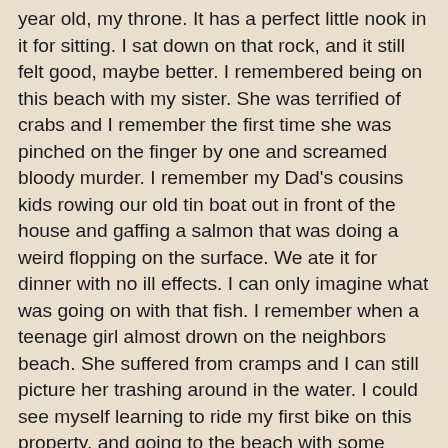year old, my throne. It has a perfect little nook in it for sitting. I sat down on that rock, and it still felt good, maybe better. I remembered being on this beach with my sister. She was terrified of crabs and I remember the first time she was pinched on the finger by one and screamed bloody murder. I remember my Dad's cousins kids rowing our old tin boat out in front of the house and gaffing a salmon that was doing a weird flopping on the surface. We ate it for dinner with no ill effects. I can only imagine what was going on with that fish. I remember when a teenage girl almost drown on the neighbors beach. She suffered from cramps and I can still picture her trashing around in the water. I could see myself learning to ride my first bike on this property, and going to the beach with some older kids and throwing rocks skyward at dusk to entice bats to show themselves. And when my dad, who had too many stubbie bottles of Lucky had a mis-step and sprained his ankle on the stairs coming out of the trailer. Later, after we moved out my uncle moved into that mobile. I can still picture when they had to replace the septic tank, and the weird colors inside of it. I had no idea what it was at the time. I remember sleep overs there when my folks were away and Christmas dinner and fondue parties in